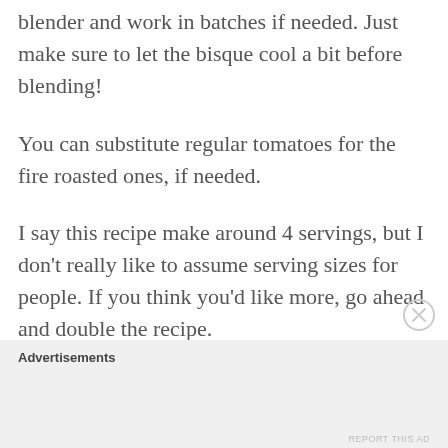blender and work in batches if needed. Just make sure to let the bisque cool a bit before blending!
You can substitute regular tomatoes for the fire roasted ones, if needed.
I say this recipe make around 4 servings, but I don't really like to assume serving sizes for people. If you think you'd like more, go ahead and double the recipe.
Advertisements